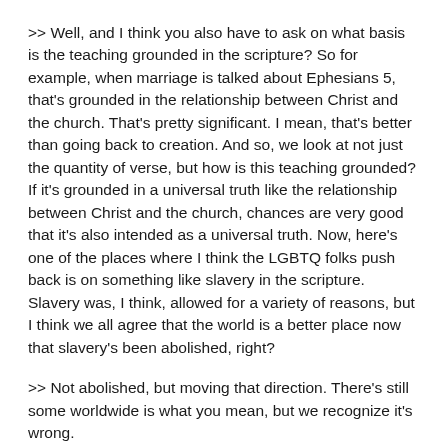>> Well, and I think you also have to ask on what basis is the teaching grounded in the scripture? So for example, when marriage is talked about Ephesians 5, that's grounded in the relationship between Christ and the church. That's pretty significant. I mean, that's better than going back to creation. And so, we look at not just the quantity of verse, but how is this teaching grounded? If it's grounded in a universal truth like the relationship between Christ and the church, chances are very good that it's also intended as a universal truth. Now, here's one of the places where I think the LGBTQ folks push back is on something like slavery in the scripture. Slavery was, I think, allowed for a variety of reasons, but I think we all agree that the world is a better place now that slavery's been abolished, right?
>> Not abolished, but moving that direction. There's still some worldwide is what you mean, but we recognize it's wrong.
>> Yeah, and the world would be much better off if all slavery were abolished.